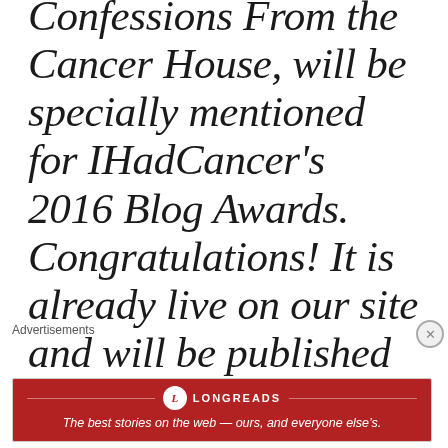Confessions From the Cancer House, will be specially mentioned for IHadCancer's 2016 Blog Awards. Congratulations! It is already live on our site and will be published
Advertisements
[Figure (other): Longreads advertisement banner: red background with Longreads logo and tagline 'The best stories on the web — ours, and everyone else's.']